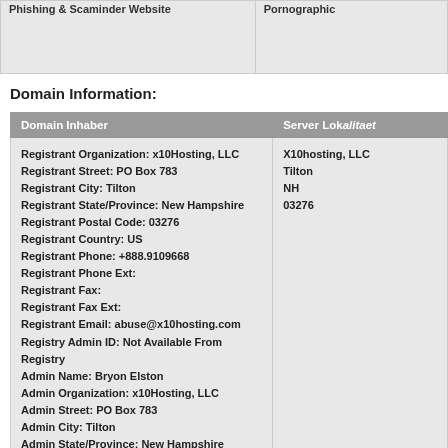| Phishing & Scaminder Website | Pornographic |
| --- | --- |
|  |  |
Domain Information:
| Domain Inhaber | Server Lokalitaet |
| --- | --- |
| Registrant Organization: x10Hosting, LLC
Registrant Street: PO Box 783
Registrant City: Tilton
Registrant State/Province: New Hampshire
Registrant Postal Code: 03276
Registrant Country: US
Registrant Phone: +888.9109668
Registrant Phone Ext:
Registrant Fax:
Registrant Fax Ext:
Registrant Email: abuse@x10hosting.com
Registry Admin ID: Not Available From Registry
Admin Name: Bryon Elston
Admin Organization: x10Hosting, LLC
Admin Street: PO Box 783
Admin City: Tilton
Admin State/Province: New Hampshire
Admin Postal Code: 03276
Admin Country: US
Admin Phone: +888.9109668
Admin Phone Ext:
Admin Fax:
Admin Fax Ext:
Admin Email: abuse@x10hosting.com
Registry Tech ID: Not Available From Registry
Tech Name: Bryon Elston
Tech Organization: x10Hosting, LLC
Tech Street: PO Box 783
Tech City: Tilton | X10hosting, LLC
Tilton
NH
03276 |